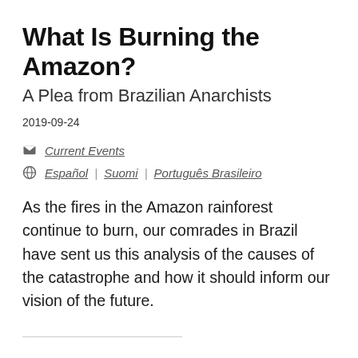What Is Burning the Amazon?
A Plea from Brazilian Anarchists
2019-09-24
Current Events
Español | Suomi | Português Brasileiro
As the fires in the Amazon rainforest continue to burn, our comrades in Brazil have sent us this analysis of the causes of the catastrophe and how it should inform our vision of the future.